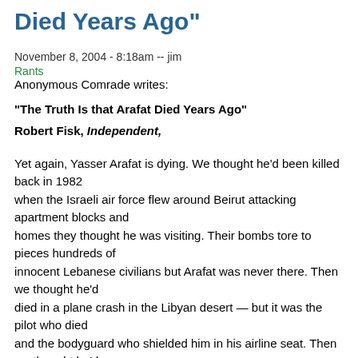Died Years Ago"
November 8, 2004 - 8:18am -- jim
Rants
Anonymous Comrade writes:
"The Truth Is that Arafat Died Years Ago"
Robert Fisk, Independent,
Yet again, Yasser Arafat is dying. We thought he'd been killed back in 1982 when the Israeli air force flew around Beirut attacking apartment blocks and homes they thought he was visiting. Their bombs tore to pieces hundreds of innocent Lebanese civilians but Arafat was never there. Then we thought he'd died in a plane crash in the Libyan desert — but it was the pilot who died and the bodyguard who shielded him in his airline seat. Then we thought he'd